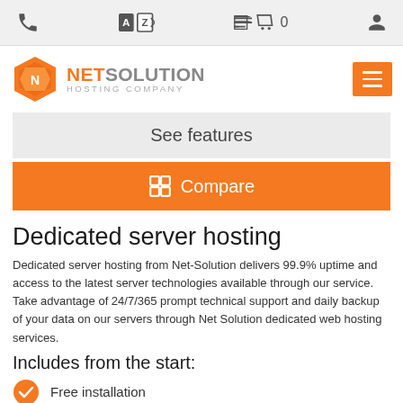Navigation bar with phone, language, cart (0), and user icons
[Figure (logo): NetSolution Hosting Company logo with orange hexagon shape and hamburger menu button]
See features
Compare
Dedicated server hosting
Dedicated server hosting from Net-Solution delivers 99.9% uptime and access to the latest server technologies available through our service. Take advantage of 24/7/365 prompt technical support and daily backup of your data on our servers through Net Solution dedicated web hosting services.
Includes from the start:
Free installation